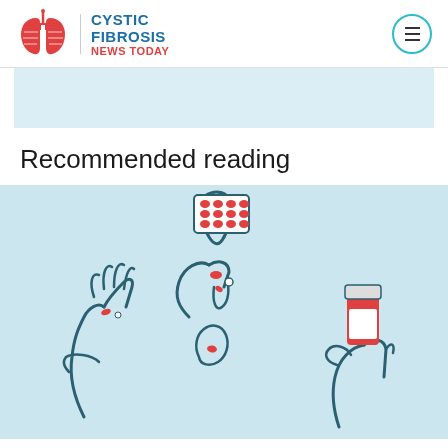[Figure (logo): Cystic Fibrosis News Today logo with illustrated lungs icon and text]
[Figure (illustration): Light blue banner/advertisement placeholder area]
Recommended reading
[Figure (illustration): Medical illustration showing hands holding pills, a blister pack of tablets, and a prescription pill bottle with red pills]